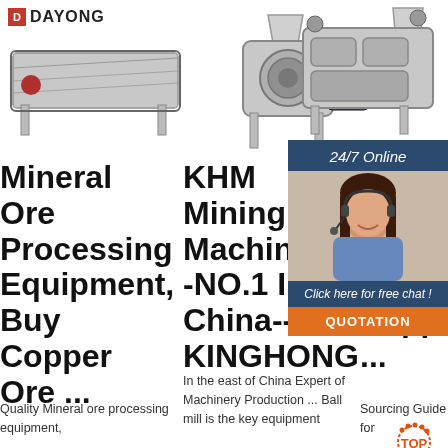[Figure (logo): Dayong company logo with red square icon and bold text]
[Figure (photo): Industrial vibrating screen / sieve machine on metal legs]
[Figure (photo): Industrial powder milling / grinding machine with blue motor]
[Figure (photo): Industrial roller mill / crushing machine]
[Figure (photo): 24/7 Online customer service chat overlay with woman wearing headset, click here for free chat button, QUOTATION button]
Mineral Ore Processing Equipment, Buy Copper Ore ...
KHM Mining Machinery--NO.1 In China--KINGHONG
Ch Si Sh Si Sh Manufacture Suppliers ...
Quality Mineral ore processing equipment,
In the east of China Expert of Machinery Production ... Ball mill is the key equipment
Sourcing Guide for